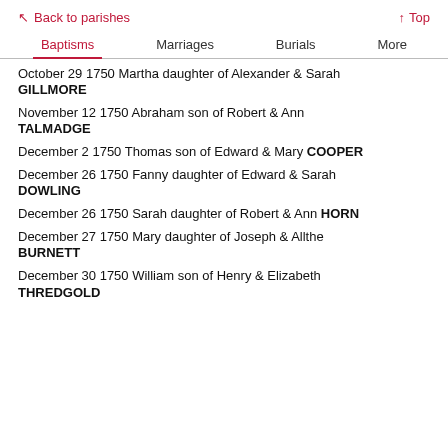Back to parishes   Top
Baptisms  Marriages  Burials  More
October 29 1750 Martha daughter of Alexander & Sarah GILLMORE
November 12 1750 Abraham son of Robert & Ann TALMADGE
December 2 1750 Thomas son of Edward & Mary COOPER
December 26 1750 Fanny daughter of Edward & Sarah DOWLING
December 26 1750 Sarah daughter of Robert & Ann HORN
December 27 1750 Mary daughter of Joseph & Allthe BURNETT
December 30 1750 William son of Henry & Elizabeth THREDGOLD